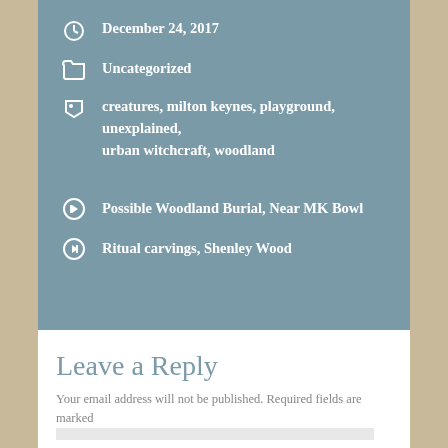December 24, 2017
Uncategorized
creatures, milton keynes, playground, unexplained, urban witchcraft, woodland
Possible Woodland Burial, Near MK Bowl
Ritual carvings, Shenley Wood
Leave a Reply
Your email address will not be published. Required fields are marked